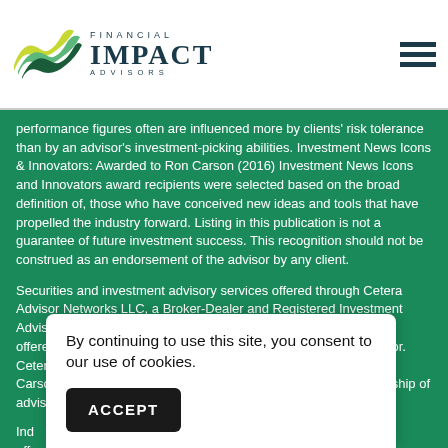Financial Impact Advisors
performance figures often are influenced more by clients' risk tolerance than by an advisor's investment-picking abilities. Investment News Icons & Innovators: Awarded to Ron Carson (2016) Investment News Icons and Innovators award recipients were selected based on the broad definition of, those who have conceived new ideas and tools that have propelled the industry forward. Listing in this publication is not a guarantee of future investment success. This recognition should not be construed as an endorsement of the advisor by any client.
Securities and investment advisory services offered through Cetera Advisor Networks LLC, a Broker-Dealer and Registered Investment Advisor, Member FINRA/SIPC. Investment advisory services also offered through CWM, LLC, an SEC Registered Investment Advisor. Cetera is under separate ownership from any other named entity. Carson Partners, a division of CWM, LLC, is a nationwide partnership of advisors.
By continuing to use this site, you consent to our use of cookies.